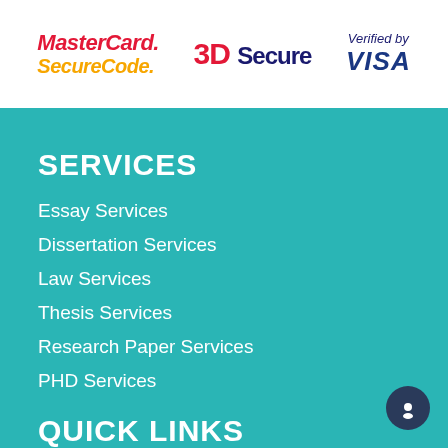[Figure (logo): MasterCard SecureCode logo - red and yellow italic text on white background]
[Figure (logo): 3D Secure logo - red 3D and dark blue Secure text on white background]
[Figure (logo): Verified by VISA logo - italic blue text on white background]
SERVICES
Essay Services
Dissertation Services
Law Services
Thesis Services
Research Paper Services
PHD Services
QUICK LINKS